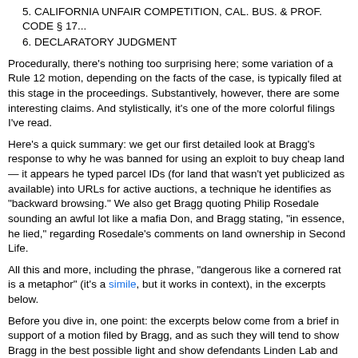5. CALIFORNIA UNFAIR COMPETITION, CAL. BUS. & PROF. CODE § 17...
6. DECLARATORY JUDGMENT
Procedurally, there's nothing too surprising here; some variation of a Rule 12 motion, depending on the facts of the case, is typically filed at this stage in the proceedings. Substantively, however, there are some interesting claims. And stylistically, it's one of the more colorful filings I've read.
Here's a quick summary: we get our first detailed look at Bragg's response to why he was banned for using an exploit to buy cheap land — it appears he typed parcel IDs (for land that wasn't yet publicized as available) into URLs for active auctions, a technique he identifies as "backward browsing." We also get Bragg quoting Philip Rosedale sounding an awful lot like a mafia Don, and Bragg stating, "in essence, he lied," regarding Rosedale's comments on land ownership in Second Life.
All this and more, including the phrase, "dangerous like a cornered rat is a metaphor" (it's a simile, but it works in context), in the excerpts below.
Before you dive in, one point: the excerpts below come from a brief in support of a motion filed by Bragg, and as such they will tend to show Bragg in the best possible light and show defendants Linden Lab and Philip Rosedale in the worst. Defendants can and will answer these points when they file their Response to Bragg's Motion (and I expect I'll be repeating this warning about those documents, with the names' reversed).
Excerpts From Bragg's Brief in Support of his Rule 12 Motion to Dismiss for a More Definitive Statement